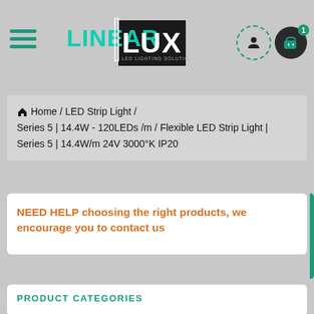[Figure (logo): LINEAR LUX LED Lighting Solutions logo — teal/white text on dark background]
Home / LED Strip Light / Series 5 | 14.4W - 120LEDs /m / Flexible LED Strip Light | Series 5 | 14.4W/m 24V 3000°K IP20
NEED HELP choosing the right products, we encourage you to contact us
PRODUCT CATEGORIES